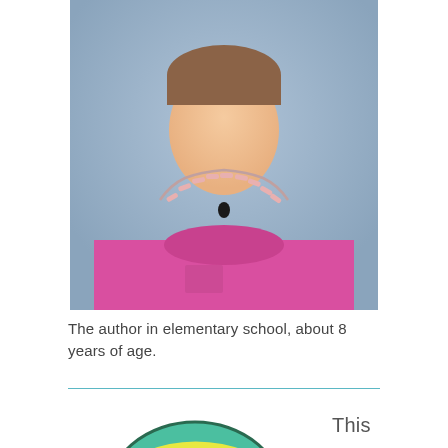[Figure (photo): School portrait photo of the author as a child, approximately 8 years old, wearing a bright pink sweatshirt and a beaded necklace, photographed against a blue-gray studio background.]
The author in elementary school, about 8 years of age.
[Figure (illustration): Partial illustration of a cartoon character with a green rounded head/hat shape with a yellow curved stripe, visible from the bottom portion of the page.]
This story was